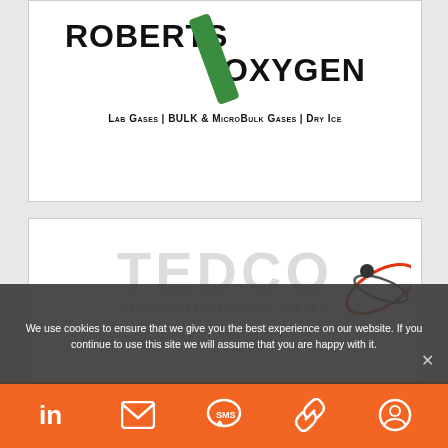[Figure (logo): Roberts Oxygen logo with green diagonal slash, text 'ROBERTS / OXYGEN' and tagline 'Lab Gases | BULK & MicroBulk Gases | Dry Ice']
[Figure (logo): TEDCO logo with large gray 'TEDCO' text, orbital graphic in red/dark colors, and subtitle 'LEADING INNOVATION TO MARKET']
We use cookies to ensure that we give you the best experience on our website. If you continue to use this site we will assume that you are happy with it.
[Figure (infographic): Orange footer bar with 5 social/contact icons: LinkedIn, Email, SMS, Link, and a settings/account icon]